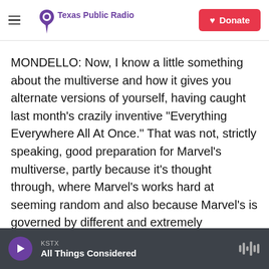Texas Public Radio | Donate
MONDELLO: Now, I know a little something about the multiverse and how it gives you alternate versions of yourself, having caught last month's crazily inventive "Everything Everywhere All At Once." That was not, strictly speaking, good preparation for Marvel's multiverse, partly because it's thought through, where Marvel's works hard at seeming random and also because Marvel's is governed by different and extremely complicated rules in addition to the more prosaic ones that have always bugged Wanda.
KSTX | All Things Considered